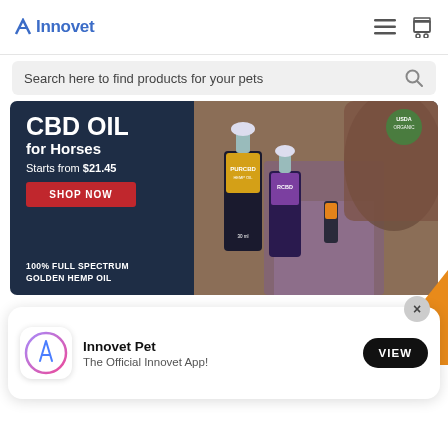Innovet
Search here to find products for your pets
[Figure (infographic): CBD Oil for Horses promotional banner on dark navy background. Text: CBD OIL for Horses, Starts from $21.45, SHOP NOW button in red, 100% FULL SPECTRUM GOLDEN HEMP OIL. Right side shows product bottles (PURCBD, RCBD) and a woman holding a small bottle next to a horse. USDA Organic badge in upper right.]
[Figure (infographic): App download popup showing Apple App Store icon, text 'Innovet Pet - The Official Innovet App!' and a VIEW button. Close X button in upper right corner.]